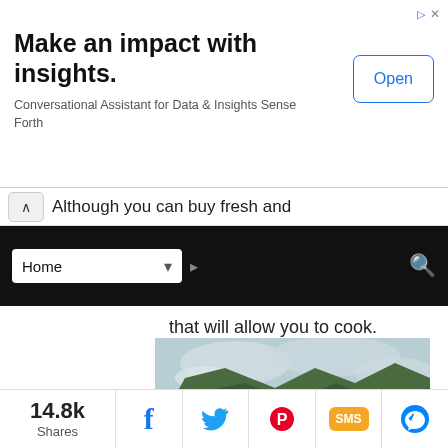[Figure (screenshot): Advertisement banner: 'Make an impact with insights. Conversational Assistant for Data & Insights Sense Forth' with an Open button]
Although you can buy fresh and
[Figure (screenshot): Browser navigation bar with Home dropdown and search icon on black bar]
that will allow you to cook.
[Figure (photo): A person in a green shirt sitting at a round wooden table overlooking a bay with traditional outrigger boats, mountains in the background, and cloudy sky]
14.8k Shares
[Figure (infographic): Social sharing bar with Facebook, Twitter, Pinterest, SMS, and Messenger icons]